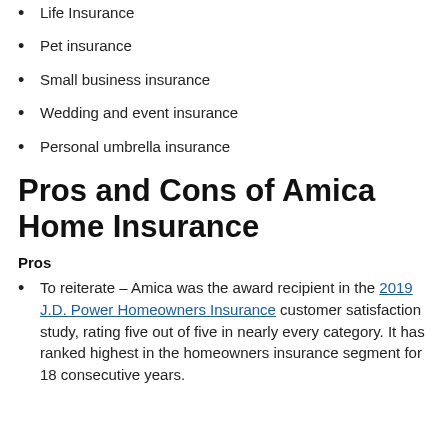Life Insurance
Pet insurance
Small business insurance
Wedding and event insurance
Personal umbrella insurance
Pros and Cons of Amica Home Insurance
Pros
To reiterate – Amica was the award recipient in the 2019 J.D. Power Homeowners Insurance customer satisfaction study, rating five out of five in nearly every category. It has ranked highest in the homeowners insurance segment for 18 consecutive years.